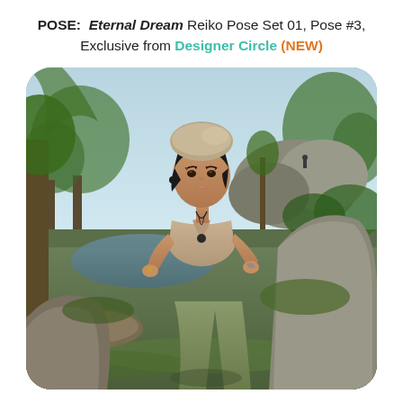POSE:  Eternal Dream Reiko Pose Set 01, Pose #3, Exclusive from Designer Circle (NEW)
[Figure (screenshot): A 3D virtual world scene showing a female avatar with short black hair and a beret-style hat, wearing a beige halter top and olive/khaki cargo pants, posing outdoors in a rocky nature environment with trees, water, and sky in the background.]